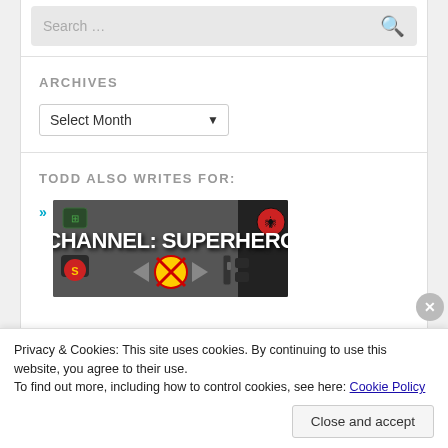[Figure (screenshot): Search bar with placeholder text 'Search ...' and a search icon on the right]
ARCHIVES
[Figure (screenshot): Dropdown selector labeled 'Select Month' with a chevron arrow]
TODD ALSO WRITES FOR:
[Figure (photo): Photo of a TV remote control with text overlay 'Channel: Superhero' featuring superhero logos]
Privacy & Cookies: This site uses cookies. By continuing to use this website, you agree to their use.
To find out more, including how to control cookies, see here: Cookie Policy
Close and accept